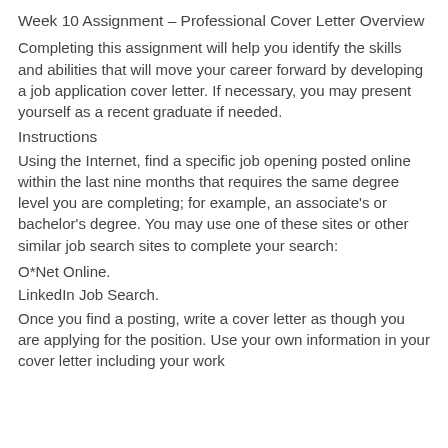Week 10 Assignment – Professional Cover Letter Overview
Completing this assignment will help you identify the skills and abilities that will move your career forward by developing a job application cover letter. If necessary, you may present yourself as a recent graduate if needed.
Instructions
Using the Internet, find a specific job opening posted online within the last nine months that requires the same degree level you are completing; for example, an associate's or bachelor's degree. You may use one of these sites or other similar job search sites to complete your search:
O*Net Online.
LinkedIn Job Search.
Once you find a posting, write a cover letter as though you are applying for the position. Use your own information in your cover letter including your work